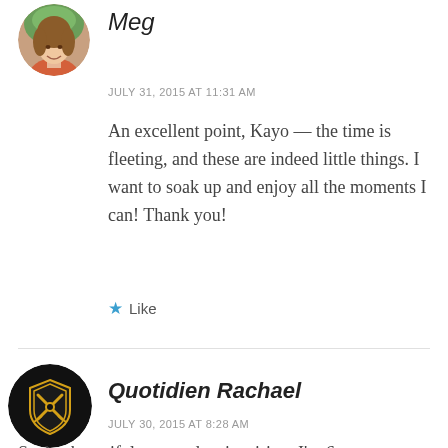[Figure (photo): Circular avatar photo of a smiling woman named Meg, outdoors]
Meg
JULY 31, 2015 AT 11:31 AM
An excellent point, Kayo — the time is fleeting, and these are indeed little things. I want to soak up and enjoy all the moments I can! Thank you!
★ Like
[Figure (logo): Circular black avatar with gold shield and crossed swords logo for Quotidien Rachael]
Quotidien Rachael
JULY 30, 2015 AT 8:28 AM
Such a beautiful post and so inspiring. I'm 6